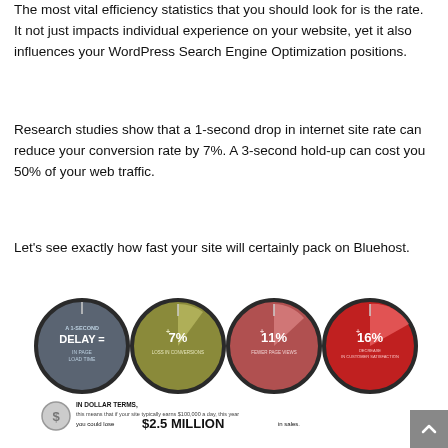The most vital efficiency statistics that you should look for is the rate. It not just impacts individual experience on your website, yet it also influences your WordPress Search Engine Optimization positions.
Research studies show that a 1-second drop in internet site rate can reduce your conversion rate by 7%. A 3-second hold-up can cost you 50% of your web traffic.
Let's see exactly how fast your site will certainly pack on Bluehost.
[Figure (infographic): Infographic showing impact of a 1-second delay in page load time: 7% loss in conversions, 11% fewer page views, 16% decrease in customer satisfaction. Bottom text: IN DOLLAR TERMS, this means that if your site typically earns $100,000 a day, this year you could lose $2.5 MILLION in sales.]